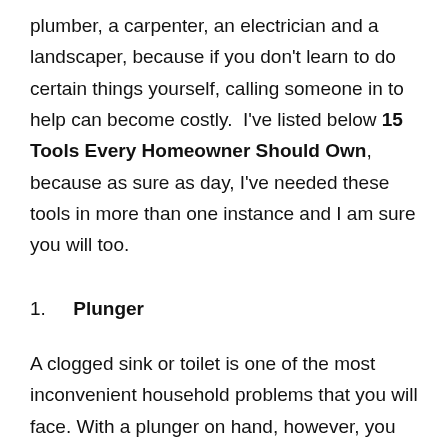plumber, a carpenter, an electrician and a landscaper, because if you don't learn to do certain things yourself, calling someone in to help can become costly.  I've listed below 15 Tools Every Homeowner Should Own, because as sure as day, I've needed these tools in more than one instance and I am sure you will too.
1.  Plunger
A clogged sink or toilet is one of the most inconvenient household problems that you will face. With a plunger on hand, however, you can usually remedy these plumbing issues relatively quickly. It is best to have two plungers — one for the sink and one for the toilet.